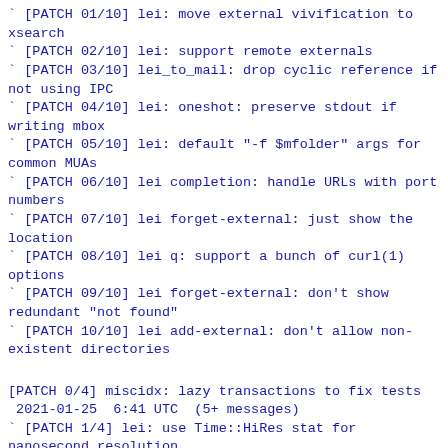` [PATCH 01/10] lei: move external vivification to xsearch
` [PATCH 02/10] lei: support remote externals
` [PATCH 03/10] lei_to_mail: drop cyclic reference if not using IPC
` [PATCH 04/10] lei: oneshot: preserve stdout if writing mbox
` [PATCH 05/10] lei: default "-f $mfolder" args for common MUAs
` [PATCH 06/10] lei completion: handle URLs with port numbers
` [PATCH 07/10] lei forget-external: just show the location
` [PATCH 08/10] lei q: support a bunch of curl(1) options
` [PATCH 09/10] lei forget-external: don't show redundant "not found"
` [PATCH 10/10] lei add-external: don't allow non-existent directories
[PATCH 0/4] miscidx: lazy transactions to fix tests
 2021-01-25  6:41 UTC  (5+ messages)
` [PATCH 1/4] lei: use Time::HiRes stat for nanosecond resolution
` [PATCH 2/4] miscidx: switch to lazy transactions
` [PATCH 3/4] spawn: split() on regexp, not a literal string
` [PATCH 4/4] use defined-or in a few more places
[PATCH 0/3] doc: some extindex updates